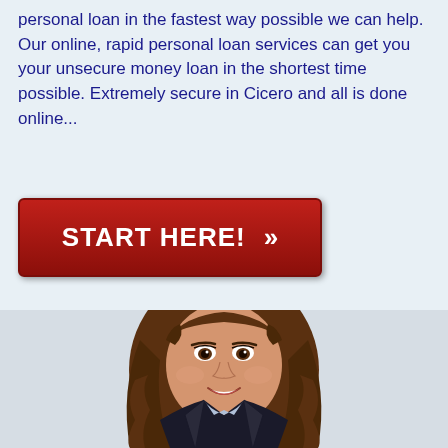personal loan in the fastest way possible we can help. Our online, rapid personal loan services can get you your unsecure money loan in the shortest time possible. Extremely secure in Cicero and all is done online...
[Figure (other): Red button with white text reading 'START HERE!' and double chevron arrow pointing right]
[Figure (photo): Portrait photo of a young smiling woman with long brown wavy hair, wearing a dark blazer over a light blue shirt, professional headshot style against a light background]